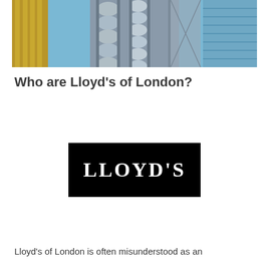[Figure (photo): Looking up at the Lloyd's of London building (Lloyds building) exterior showing steel and silver cylindrical pods and scaffolding-style facade, with glass skyscrapers and blue sky in the background.]
Who are Lloyd's of London?
[Figure (logo): Lloyd's of London logo: white serif capital letters 'LLOYD'S' on a solid black rectangular background.]
Lloyd's of London is often misunderstood as an